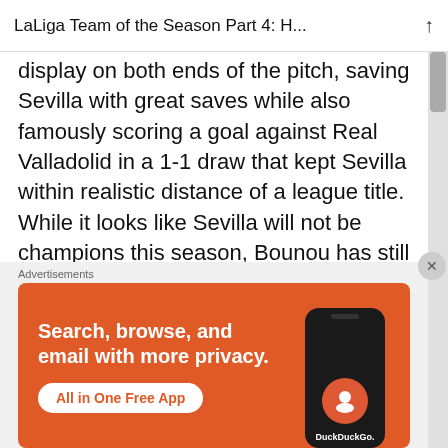LaLiga Team of the Season Part 4: H...
display on both ends of the pitch, saving Sevilla with great saves while also famously scoring a goal against Real Valladolid in a 1-1 draw that kept Sevilla within realistic distance of a league title. While it looks like Sevilla will not be champions this season, Bounou has still been outstanding and deserves individual recognition, even if it is over the also-world-class Marc-André ter Stegen. I could also put ter Stegen in this team, but four goalkeepers would be absurd
Advertisements
[Figure (screenshot): DuckDuckGo advertisement banner with orange background showing 'Search, browse, and email with more privacy. All in One Free App' text, and a phone image with DuckDuckGo logo]